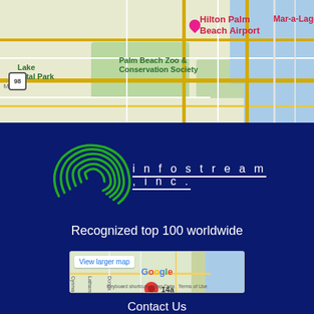[Figure (map): Google Maps view showing Hilton Palm Beach Airport, Mar-a-Lago Beach House, Lake Lytal Park, Palm Beach Zoo & Conservation Society area]
[Figure (logo): Infostream, Inc. logo with green spiral graphic and white text on dark blue background]
Recognized top 100 worldwide
[Figure (map): Google Maps thumbnail showing location 14a with red pin, View larger map link, and Google branding with keyboard shortcuts and terms]
Contact Us